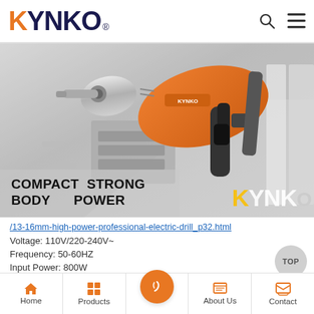KYNKO®
[Figure (photo): Orange and black KYNKO electric drill on grey background with text overlay 'COMPACT BODY STRONG POWER' and KYNKO watermark logo]
/13-16mm-high-power-professional-electric-drill_p32.html
Voltage: 110V/220-240V~
Frequency: 50-60HZ
Input Power: 800W
No Load Speed: 900RPM
Home  Products  [center icon]  About Us  Contact